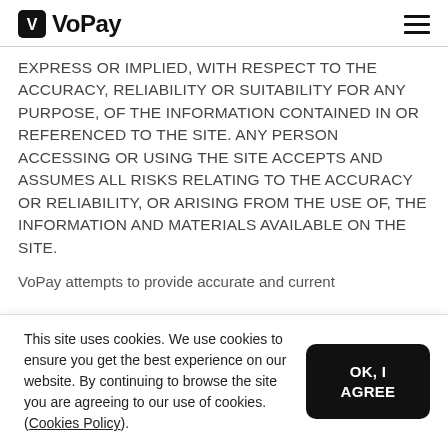VoPay
EXPRESS OR IMPLIED, WITH RESPECT TO THE ACCURACY, RELIABILITY OR SUITABILITY FOR ANY PURPOSE, OF THE INFORMATION CONTAINED IN OR REFERENCED TO THE SITE. ANY PERSON ACCESSING OR USING THE SITE ACCEPTS AND ASSUMES ALL RISKS RELATING TO THE ACCURACY OR RELIABILITY, OR ARISING FROM THE USE OF, THE INFORMATION AND MATERIALS AVAILABLE ON THE SITE.
VoPay attempts to provide accurate and current
This site uses cookies. We use cookies to ensure you get the best experience on our website. By continuing to browse the site you are agreeing to our use of cookies. (Cookies Policy).